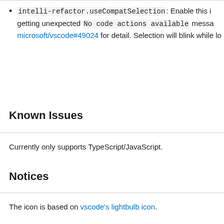intelli-refactor.useCompatSelection: Enable this if getting unexpected No code actions available messages. See microsoft/vscode#49024 for detail. Selection will blink while lo
Known Issues
Currently only supports TypeScript/JavaScript.
Notices
The icon is based on vscode's lightbulb icon.